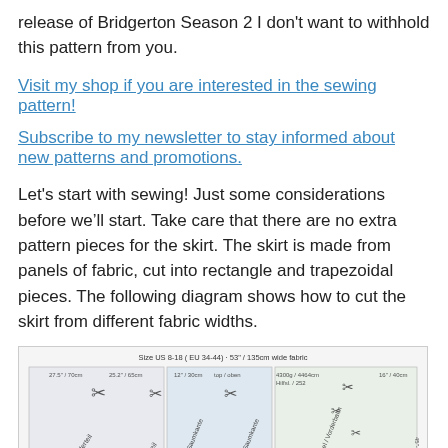release of Bridgerton Season 2 I don't want to withhold this pattern from you.
Visit my shop if you are interested in the sewing pattern!
Subscribe to my newsletter to stay informed about new patterns and promotions.
Let's start with sewing! Just some considerations before we'll start. Take care that there are no extra pattern pieces for the skirt. The skirt is made from panels of fabric, cut into rectangle and trapezoidal pieces. The following diagram shows how to cut the skirt from different fabric widths.
[Figure (schematic): Fabric cutting diagram for skirt panels showing Size US 8-18 (EU 34-44) - 53"/135cm wide fabric, with measurements and scissors icons indicating where to cut different panels including front/Vorderteil and back/Rückteil pieces.]